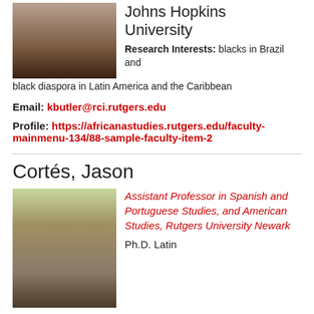[Figure (photo): Headshot photo of a woman with dreadlocks, smiling]
Johns Hopkins University
Research Interests: blacks in Brazil and black diaspora in Latin America and the Caribbean
Email: kbutler@rci.rutgers.edu
Profile: https://africanastudies.rutgers.edu/faculty-mainmenu-134/88-sample-faculty-item-2
Cortés, Jason
[Figure (photo): Headshot photo of a man with dark hair and beard wearing glasses and a dark jacket]
Assistant Professor in Spanish and Portuguese Studies, and American Studies, Rutgers University Newark
Ph.D. Latin